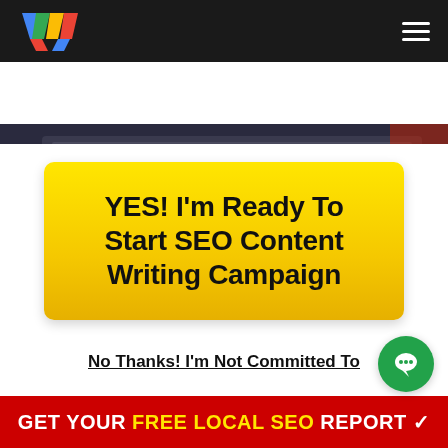[Figure (logo): Colorful W logo on dark navigation bar with hamburger menu icon]
[Figure (photo): Dark hero image strip showing partial view of laptop keyboard]
YES! I'm Ready To Start SEO Content Writing Campaign
No Thanks! I'm Not Committed To Get New Clients.
GET YOUR FREE LOCAL SEO REPORT ✓